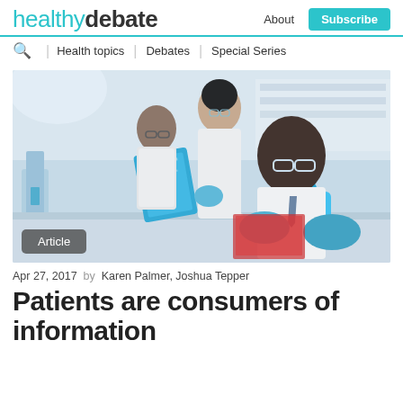healthydebate | About | Subscribe | Health topics | Debates | Special Series
[Figure (photo): Three scientists in white lab coats and blue gloves working in a laboratory. A man in the foreground holds test tubes with blue liquid, a woman in the middle holds a clipboard, and another man works in the background.]
Article
Apr 27, 2017  by  Karen Palmer, Joshua Tepper
Patients are consumers of information